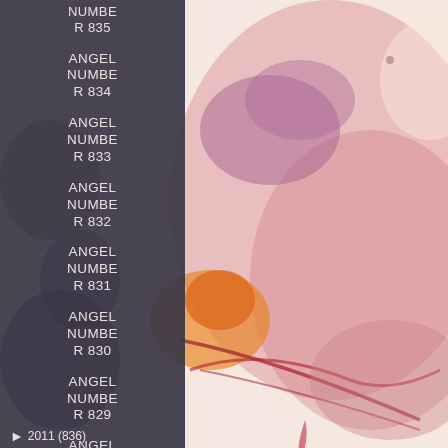[Figure (illustration): Abstract watercolor painting with pink, red, orange, and purple fluid shapes and splatters on light background, covering the right two-thirds of the page]
ANGEL NUMBER 835
ANGEL NUMBER 834
ANGEL NUMBER 833
ANGEL NUMBER 832
ANGEL NUMBER 831
ANGEL NUMBER 830
ANGEL NUMBER 829
ANGEL NUMBER 828
2011 (836)